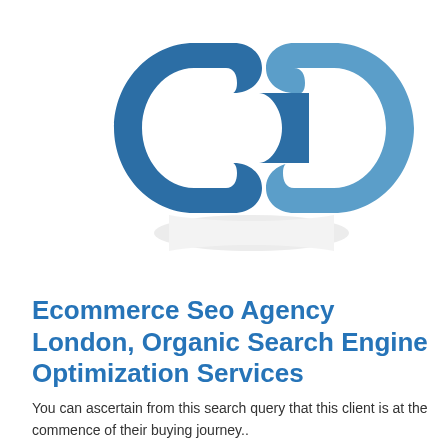[Figure (logo): SEO agency logo: two interlinked chain-link rings in dark blue and light blue, with a reflected/shadow version below in grey]
Ecommerce Seo Agency London, Organic Search Engine Optimization Services
You can ascertain from this search query that this client is at the commence of their buying journey..